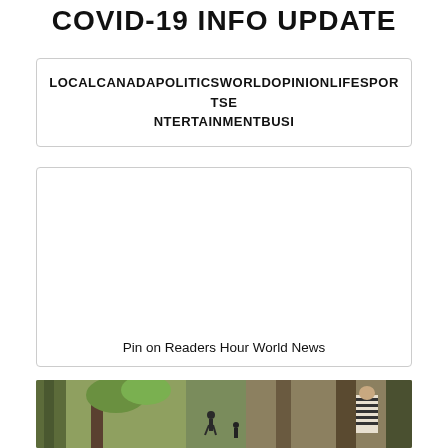COVID-19 INFO UPDATE
LOCALCANADAPOLITICSWORLDOPINIONLIFESPORTSENTERTAINMENTBUSI
[Figure (other): Empty white card box with caption 'Pin on Readers Hour World News']
Pin on Readers Hour World News
[Figure (photo): Outdoor jungle/forest scene with people and trees, green foliage]